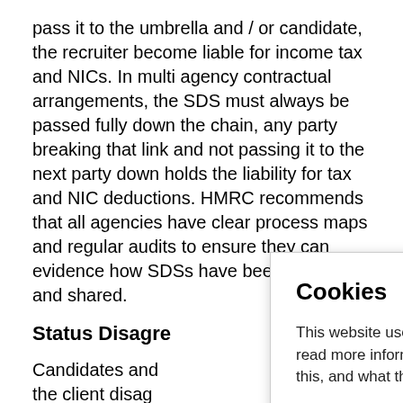pass it to the umbrella and / or candidate, the recruiter become liable for income tax and NICs. In multi agency contractual arrangements, the SDS must always be passed fully down the chain, any party breaking that link and not passing it to the next party down holds the liability for tax and NIC deductions. HMRC recommends that all agencies have clear process maps and regular audits to ensure they can evidence how SDSs have been received and shared.
Status Disagre…
Candidates and … the client disag… representations… they disagree. T… final payment h… essentially conc… been made down the chain, the client does not
[Figure (screenshot): Cookie consent modal overlay with title 'Cookies', body text 'This website uses cookies. You can read more information about why we do this, and what they are used for here.', and two buttons: Accept (dark) and Decline (grey).]